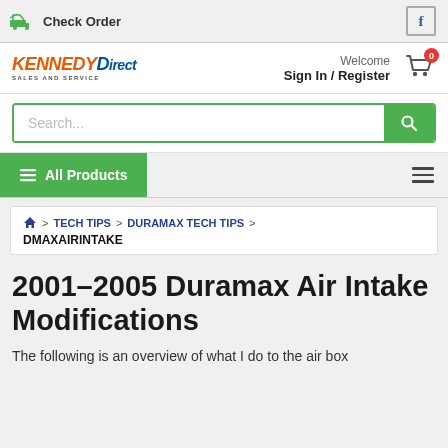Check Order | f
[Figure (logo): Kennedy Direct Sales and Service logo]
Welcome Sign In / Register
Search...
All Products
TECH TIPS > DURAMAX TECH TIPS > DMAXAIRINTAKE
2001-2005 Duramax Air Intake Modifications
The following is an overview of what I do to the air box